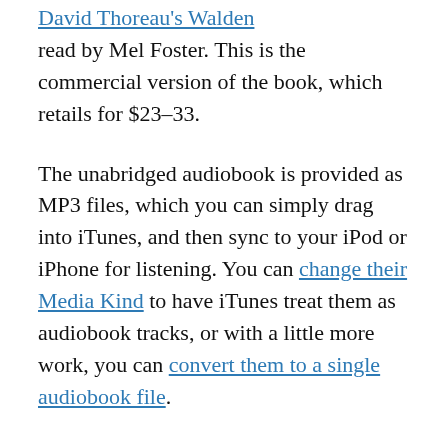David Thoreau's Walden read by Mel Foster. This is the commercial version of the book, which retails for $23–33.
The unabridged audiobook is provided as MP3 files, which you can simply drag into iTunes, and then sync to your iPod or iPhone for listening. You can change their Media Kind to have iTunes treat them as audiobook tracks, or with a little more work, you can convert them to a single audiobook file.
Note: If you don't already have one, you will need to create an account on Tantor Media's site, which will sign you up for their newsletter